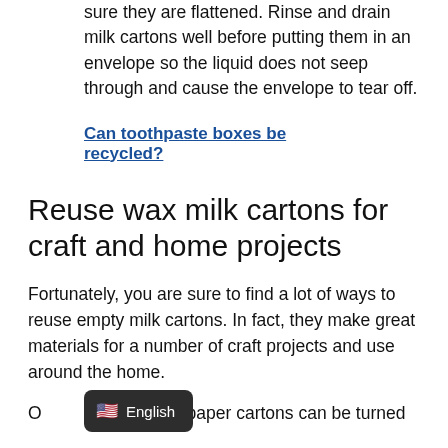sure they are flattened. Rinse and drain milk cartons well before putting them in an envelope so the liquid does not seep through and cause the envelope to tear off.
Can toothpaste boxes be recycled?
Reuse wax milk cartons for craft and home projects
Fortunately, you are sure to find a lot of ways to reuse empty milk cartons. In fact, they make great materials for a number of craft projects and use around the home.
O[English badge overlay]used paper cartons can be turned